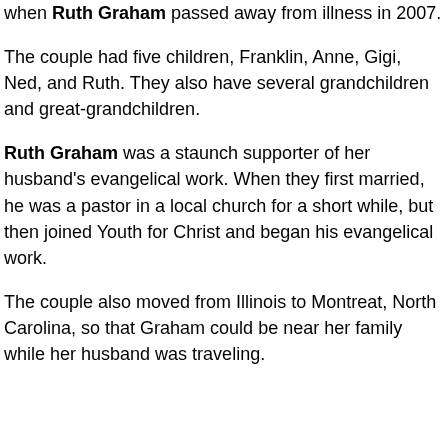when Ruth Graham passed away from illness in 2007.
The couple had five children, Franklin, Anne, Gigi, Ned, and Ruth. They also have several grandchildren and great-grandchildren.
Ruth Graham was a staunch supporter of her husband's evangelical work. When they first married, he was a pastor in a local church for a short while, but then joined Youth for Christ and began his evangelical work.
The couple also moved from Illinois to Montreat, North Carolina, so that Graham could be near her family while her husband was traveling.